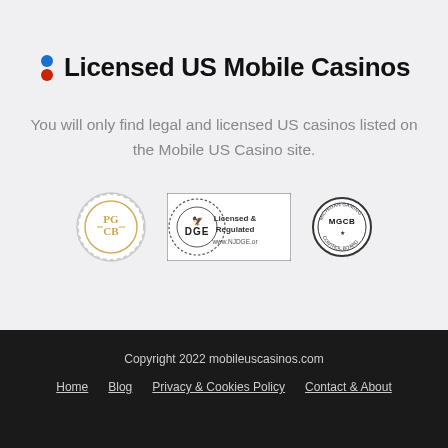Licensed US Mobile Casinos
You will only find legal and licensed US casinos listed on the Mobile US Casino site.
[Figure (logo): Three regulatory authority logos: PGCB (Pennsylvania Gaming Control Board) circular seal, DGE (Division of Gaming Enforcement) Licensed & Regulated badge with www.NJDGE.or, and MGCB (Michigan Gaming Control Board) circular logo]
Copyright 2022 mobileuscasinos.com
Home  Blog  Privacy & Cookies Policy  Contact & About